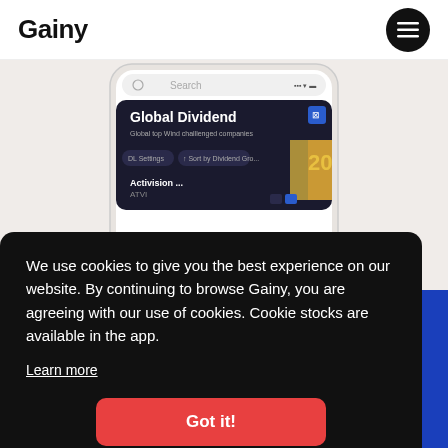Gainy
[Figure (screenshot): Mobile phone screenshot showing the Gainy app with 'Global Dividend' collection, showing dividend companies list including Activision/ATVI, with filter buttons and a chart showing '20' stocks]
We use cookies to give you the best experience on our website. By continuing to browse Gainy, you are agreeing with our use of cookies. Cookie stocks are available in the app.
Learn more
Got it!
If you have any feature requests or feedback,